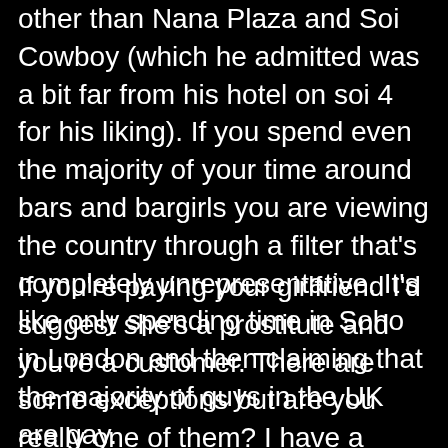other than Nana Plaza and Soi Cowboy (which he admitted was a bit far from his hotel on soi 4 for his liking). If you spend even the majority of your time around bars and bargirls you are viewing the country through a filter that's completely unrepresentative. It's like only spending time in Soho in London and then claiming that the majority of guys in the UK are gay.
If you're paying your girlfriend I'd suggest she's a prostitute and you're a customer. There are some exceptions but are you really one of them? I have a friend whose boyfriend is supporting her while she takes English lessons to improve her chances of getting a visa. They dated for over a year before this happened and it was his suggestion not hers. She